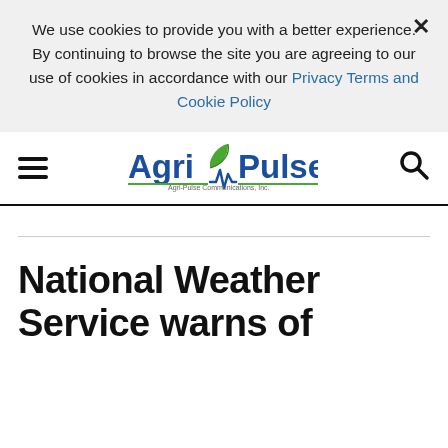We use cookies to provide you with a better experience. × By continuing to browse the site you are agreeing to our use of cookies in accordance with our Privacy Terms and Cookie Policy
[Figure (logo): AgriPulse logo with leaf icon and navigation bar with hamburger menu and search icon]
National Weather Service warns of